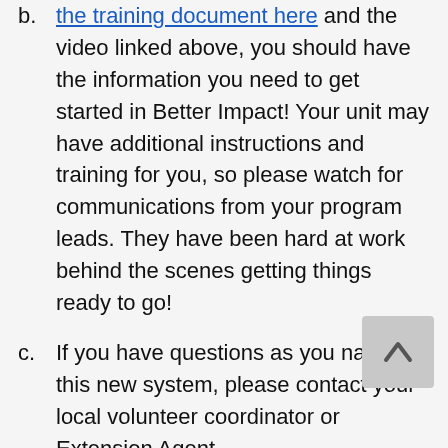b.  Between the training document here and the video linked above, you should have the information you need to get started in Better Impact! Your unit may have additional instructions and training for you, so please watch for communications from your program leads. They have been hard at work behind the scenes getting things ready to go!
c.   If you have questions as you navigate this new system, please contact your local volunteer coordinator or Extension Agent.
Other Announcements:
1.   Send us your announcements! Have you